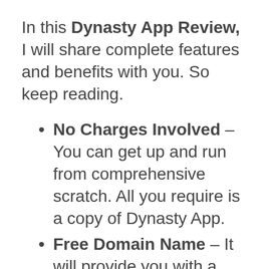In this Dynasty App Review, I will share complete features and benefits with you. So keep reading.
No Charges Involved – You can get up and run from comprehensive scratch. All you require is a copy of Dynasty App.
Free Domain Name – It will provide you with a